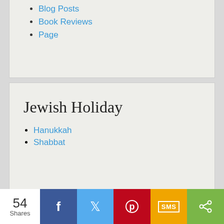Blog Posts
Book Reviews
Page
Jewish Holiday
Hanukkah
Shabbat
54 Shares
[Figure (other): Social sharing bar with Facebook, Twitter, Pinterest, SMS, and share buttons showing 54 Shares]